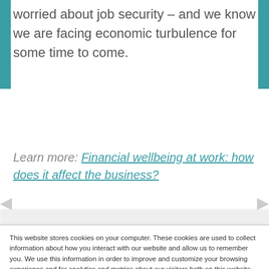worried about job security – and we know we are facing economic turbulence for some time to come.
Learn more: Financial wellbeing at work: how does it affect the business?
This website stores cookies on your computer. These cookies are used to collect information about how you interact with our website and allow us to remember you. We use this information in order to improve and customize your browsing experience and for analytics and metrics about our visitors both on this website and other media. To find out more about the cookies we use, see our Privacy Policy
Accept